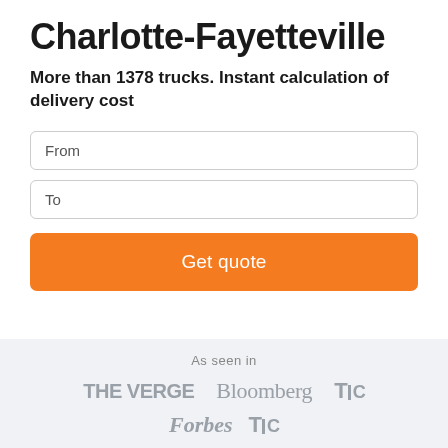Charlotte-Fayetteville
More than 1378 trucks. Instant calculation of delivery cost
From
To
Get quote
As seen in
[Figure (logo): Media logos: THE VERGE, Bloomberg, TechCrunch (TC), Forbes, TechCrunch (TC) in gray]
THE VERGE  Bloomberg  TC  Forbes  TC